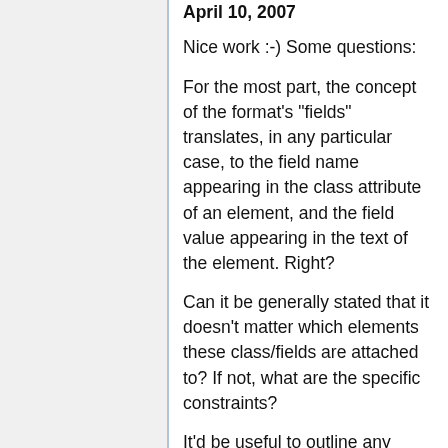April 10, 2007
Nice work :-) Some questions:
For the most part, the concept of the format's "fields" translates, in any particular case, to the field name appearing in the class attribute of an element, and the field value appearing in the text of the element. Right?
Can it be generally stated that it doesn't matter which elements these class/fields are attached to? If not, what are the specific constraints?
It'd be useful to outline any cases where:
fields or values appear in other attributes (e.g., class="type" title="business")
an element indicated as a field can contain more than text, or a mix of text and other elements (e.g., some